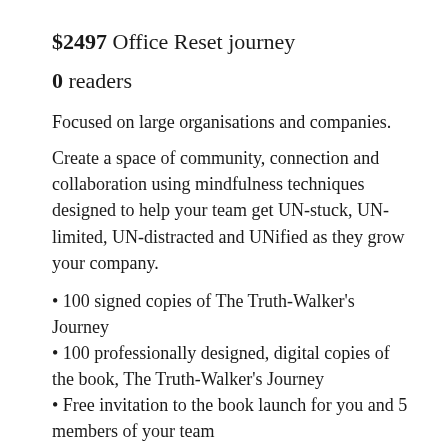$2497 Office Reset journey
0 readers
Focused on large organisations and companies.
Create a space of community, connection and collaboration using mindfulness techniques designed to help your team get UN-stuck, UN-limited, UN-distracted and UNified as they grow your company.
100 signed copies of The Truth-Walker's Journey
100 professionally designed, digital copies of the book, The Truth-Walker's Journey
Free invitation to the book launch for you and 5 members of your team
100 The Truth-Walkers Journey beautifully designed manifesto cards
A half day workshop with the author (virtual or live) for your team, teaching the tools The Truth-Walker's